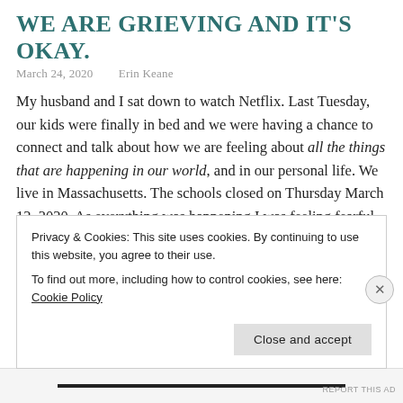WE ARE GRIEVING AND IT'S OKAY.
March 24, 2020   Erin Keane
My husband and I sat down to watch Netflix. Last Tuesday, our kids were finally in bed and we were having a chance to connect and talk about how we are feeling about all the things that are happening in our world, and in our personal life. We live in Massachusetts. The schools closed on Thursday March 12, 2020. As everything was happening I was feeling fearful, worried. I couldn't get my mind around what was going on. I worried about my kids, and wanting to
Privacy & Cookies: This site uses cookies. By continuing to use this website, you agree to their use.
To find out more, including how to control cookies, see here: Cookie Policy
Close and accept